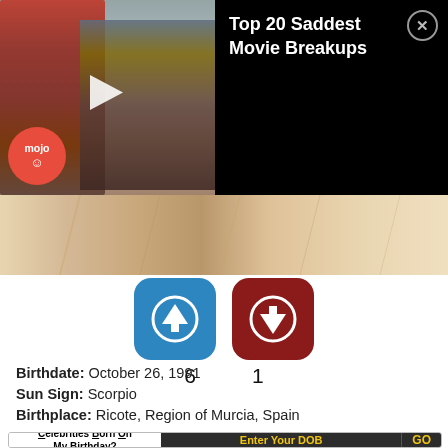[Figure (screenshot): Video thumbnail showing two people in a forest scene — a woman with red hair and a man — from a romantic movie. WatchMojo logo visible. Black panel on right shows video title 'Top 20 Saddest Movie Breakups' with a close button.]
[Figure (photo): Lower portion of movie still showing beige/tan clothing details.]
[Figure (infographic): Blue upvote button (rounded square) and dark red downvote button (rounded square) with counts 6 and 1 below them respectively.]
Birthdate: October 26, 1991
Sun Sign: Scorpio
Birthplace: Ricote, Region of Murcia, Spain
Celebrities Born On My Birthday?
Enter Your DOB
GO